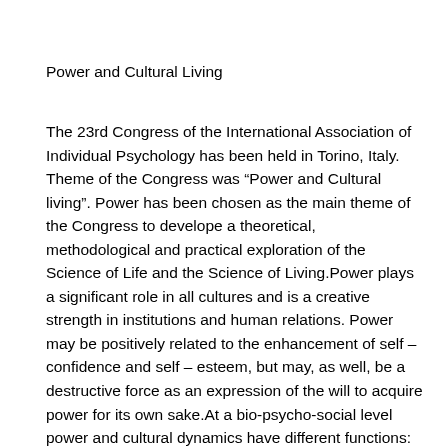Power and Cultural Living
The 23rd Congress of the International Association of Individual Psychology has been held in Torino, Italy. Theme of the Congress was “Power and Cultural living”. Power has been chosen as the main theme of the Congress to develope a theoretical, methodological and practical exploration of the Science of Life and the Science of Living.Power plays a significant role in all cultures and is a creative strength in institutions and human relations. Power may be positively related to the enhancement of self – confidence and self – esteem, but may, as well, be a destructive force as an expression of the will to acquire power for its own sake.At a bio-psycho-social level power and cultural dynamics have different functions: compensation of inferiority feelings, reference to social roles and the shaping of personal modes of communication.The interaction of power and culture, and the culture of power, can facilitate cooperation and social feeling and not a power culture. The theme of the Congress has